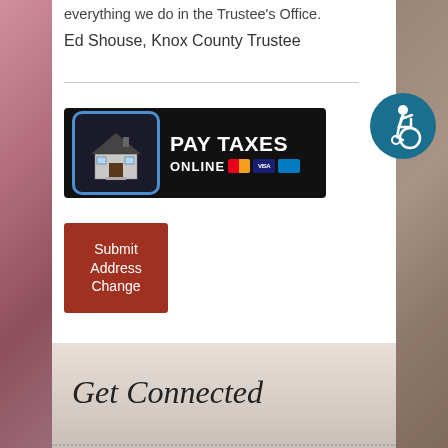everything we do in the Trustee's Office.
Ed Shouse, Knox County Trustee
[Figure (screenshot): Pay Taxes Online banner with house icon and credit card logos on black background]
[Figure (infographic): Accessibility icon - white wheelchair user on teal/dark blue circle]
[Figure (infographic): Submit Address Change - dark red/brown button with white text]
Get Connected